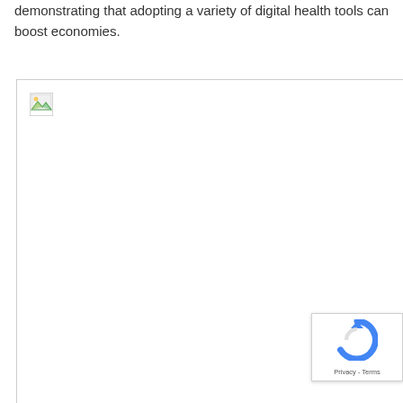demonstrating that adopting a variety of digital health tools can boost economies.
[Figure (other): A broken image placeholder inside a bordered box, with a reCAPTCHA badge overlay in the bottom right corner.]